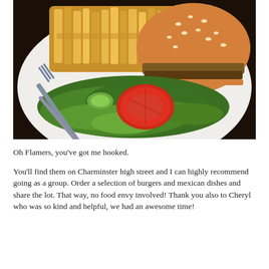[Figure (photo): A close-up photo of a plate containing a sesame seed burger bun with filling, a side of French fries, and a green salad with a halved tomato and cucumber slices. A fork and knife are resting on the plate.]
Oh Flamers, you've got me hooked.
You'll find them on Charminster high street and I can highly recommend going as a group. Order a selection of burgers and mexican dishes and share the lot. That way, no food envy involved! Thank you also to Cheryl who was so kind and helpful, we had an awesome time!